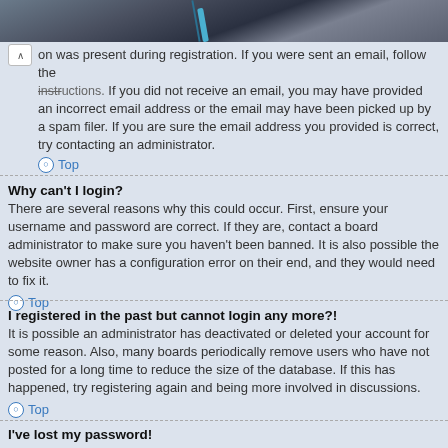[Figure (photo): Partial view of a dark-toned photo at the top of the page (appears to be tools or machinery)]
on was present during registration. If you were sent an email, follow the instructions. If you did not receive an email, you may have provided an incorrect email address or the email may have been picked up by a spam filer. If you are sure the email address you provided is correct, try contacting an administrator.
Top
Why can't I login?
There are several reasons why this could occur. First, ensure your username and password are correct. If they are, contact a board administrator to make sure you haven't been banned. It is also possible the website owner has a configuration error on their end, and they would need to fix it.
Top
I registered in the past but cannot login any more?!
It is possible an administrator has deactivated or deleted your account for some reason. Also, many boards periodically remove users who have not posted for a long time to reduce the size of the database. If this has happened, try registering again and being more involved in discussions.
Top
I've lost my password!
Don't panic! While your password cannot be retrieved, it can easily be reset. Visit the login page and click I forgot my password. Follow the instructions and you should be able to log in again shortly.